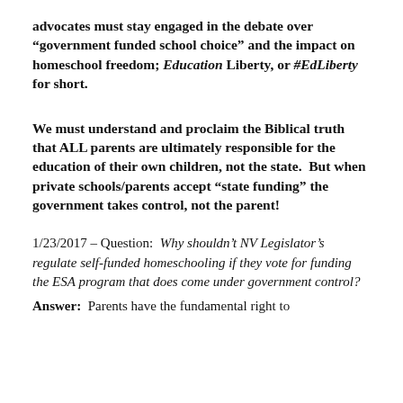advocates must stay engaged in the debate over “government funded school choice” and the impact on homeschool freedom; Education Liberty, or #EdLiberty for short.
We must understand and proclaim the Biblical truth that ALL parents are ultimately responsible for the education of their own children, not the state.  But when private schools/parents accept “state funding” the government takes control, not the parent!
1/23/2017 – Question:  Why shouldn’t NV Legislator’s regulate self-funded homeschooling if they vote for funding the ESA program that does come under government control?
Answer:  Parents have the fundamental right to